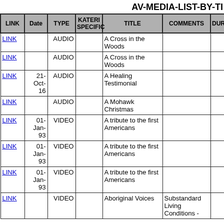AV-MEDIA-LIST-BY-TI
| LINK | Date | TYPE | KATERI SPECIFIC | TITLE | COMMENTS | DURAT |
| --- | --- | --- | --- | --- | --- | --- |
| LINK |  | AUDIO |  | A Cross in the Woods |  |  |
| LINK |  | AUDIO |  | A Cross in the Woods |  |  |
| LINK | 21-Oct-16 | AUDIO |  | A Healing Testimonial |  |  |
| LINK |  | AUDIO |  | A Mohawk Christmas |  |  |
| LINK | 01-Jan-93 | VIDEO |  | A tribute to the first Americans |  |  |
| LINK | 01-Jan-93 | VIDEO |  | A tribute to the first Americans |  |  |
| LINK | 01-Jan-93 | VIDEO |  | A tribute to the first Americans |  |  |
| LINK |  | VIDEO |  | Aboriginal Voices | Substandard Living Conditions - |  |